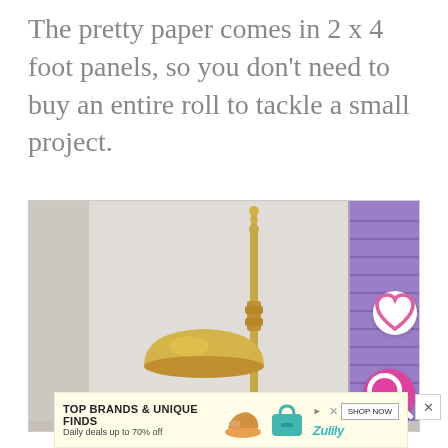The pretty paper comes in 2 x 4 foot panels, so you don't need to buy an entire roll to tackle a small project.
[Figure (photo): Interior room scene showing a gold/brass floor lamp with dome shade in front of white walls, with purple painted shutters visible on the right side. A heart icon button and a pink search icon button are overlaid on the image.]
[Figure (advertisement): Zulily advertisement banner reading 'TOP BRANDS & UNIQUE FINDS' and 'Daily deals up to 70% off' with product images of shoes and a teal purse, and a SHOP NOW button.]